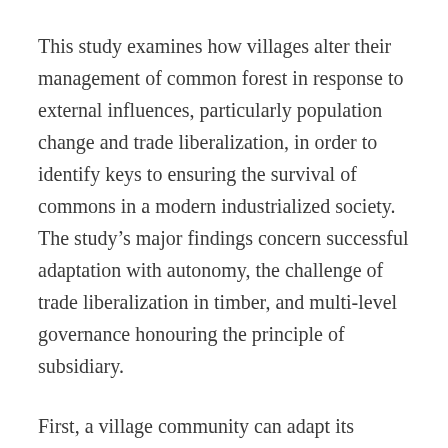This study examines how villages alter their management of common forest in response to external influences, particularly population change and trade liberalization, in order to identify keys to ensuring the survival of commons in a modern industrialized society. The study's major findings concern successful adaptation with autonomy, the challenge of trade liberalization in timber, and multi-level governance honouring the principle of subsidiary.
First, a village community can adapt its institutions to external influences through repeated institutional changes. We saw that Tō village, where the number of newcomers increased most drastically as a result of motorization and the expansion of suburbs, also